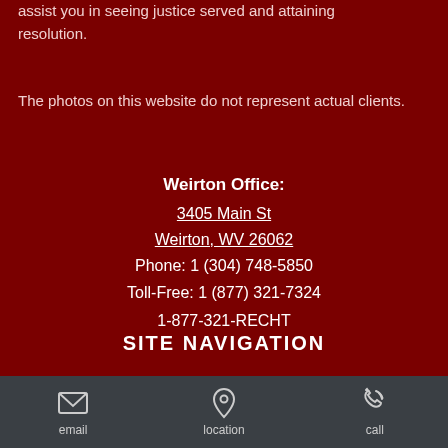assist you in seeing justice served and attaining resolution.
The photos on this website do not represent actual clients.
Weirton Office:
3405 Main St
Weirton, WV 26062
Phone: 1 (304) 748-5850
Toll-Free: 1 (877) 321-7324
1-877-321-RECHT
SITE NAVIGATION
email
location
call